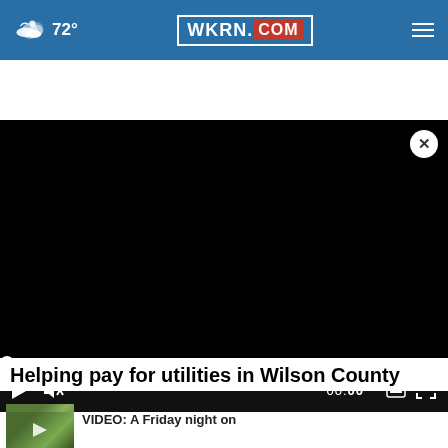72° WKRN.COM
[Figure (screenshot): Black video player with close button (X), progress bar at beginning, and playback controls showing play button, mute button, timestamp 00:00, subtitle button, and fullscreen button]
Helping pay for utilities in Wilson County
[Figure (photo): Small thumbnail image showing outdoor scene]
VIDEO: A Friday night on